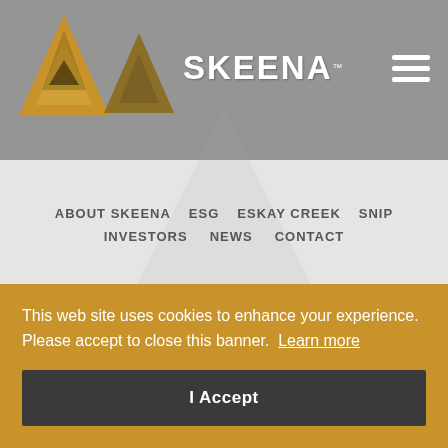[Figure (logo): Skeena Resources logo with golden triangle mountain icon and SKEENA text in white bold font on grey background]
ABOUT SKEENA   ESG   ESKAY CREEK   SNIP   INVESTORS   NEWS   CONTACT
Follow Us
[Figure (infographic): Social media icons: Facebook, Twitter, Instagram, LinkedIn in dark grey square icons]
E 0C3
This web site uses cookies to enhance your experience. Please accept to close this banner. Learn more
I Accept